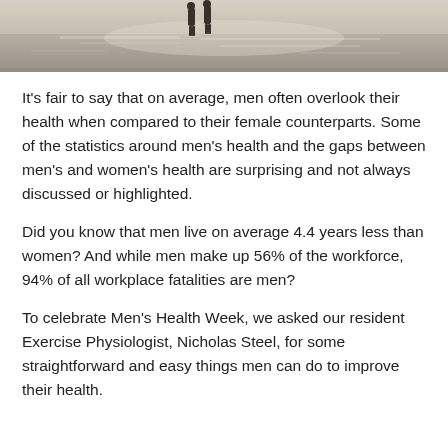[Figure (photo): Two silhouetted figures walking near water with light reflecting off the surface, misty/foggy coastal scene]
It's fair to say that on average, men often overlook their health when compared to their female counterparts. Some of the statistics around men's health and the gaps between men's and women's health are surprising and not always discussed or highlighted.
Did you know that men live on average 4.4 years less than women? And while men make up 56% of the workforce, 94% of all workplace fatalities are men?
To celebrate Men's Health Week, we asked our resident Exercise Physiologist, Nicholas Steel, for some straightforward and easy things men can do to improve their health.